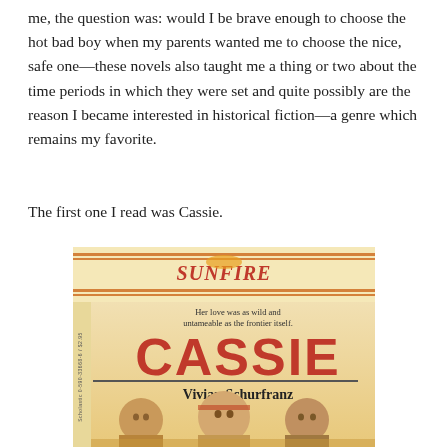me, the question was: would I be brave enough to choose the hot bad boy when my parents wanted me to choose the nice, safe one—these novels also taught me a thing or two about the time periods in which they were set and quite possibly are the reason I became interested in historical fiction—a genre which remains my favorite.
The first one I read was Cassie.
[Figure (photo): Book cover of 'Cassie' by Vivian Schurfranz from the Sunfire series. The cover shows the Sunfire logo at the top with tagline 'Her love was as wild and untameable as the frontier itself.' The title CASSIE is displayed in large red letters. Below shows three young people — two young men and a young woman with a headband in the center — depicted in a frontier/historical setting.]